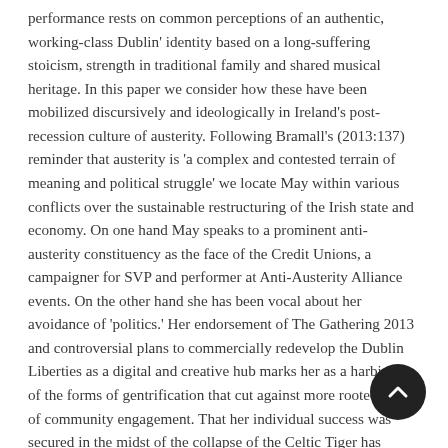performance rests on common perceptions of an authentic, working-class Dublin' identity based on a long-suffering stoicism, strength in traditional family and shared musical heritage. In this paper we consider how these have been mobilized discursively and ideologically in Ireland's post-recession culture of austerity. Following Bramall's (2013:137) reminder that austerity is 'a complex and contested terrain of meaning and political struggle' we locate May within various conflicts over the sustainable restructuring of the Irish state and economy. On one hand May speaks to a prominent anti-austerity constituency as the face of the Credit Unions, a campaigner for SVP and performer at Anti-Austerity Alliance events. On the other hand she has been vocal about her avoidance of 'politics.' Her endorsement of The Gathering 2013 and controversial plans to commercially redevelop the Dublin Liberties as a digital and creative hub marks her as a harbinger of the forms of gentrification that cut against more rooted forms of community engagement. That her individual success was secured in the midst of the collapse of the Celtic Tiger has simultaneously played an important symbolic role in normalising and legitimating an austerity discourse within the Irish public a reminder of Stiglitz's (2013) comments about Ireland's 'astonishing' ability to accept the pain of harsh economic and